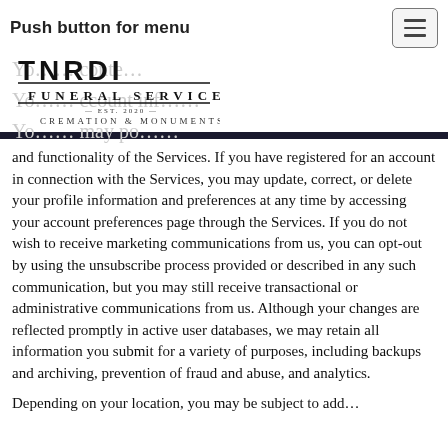Push button for menu
[Figure (logo): TNRDI Funeral Services - Est. 2020 - Cremation & Monuments logo]
and functionality of the Services. If you have registered for an account in connection with the Services, you may update, correct, or delete your profile information and preferences at any time by accessing your account preferences page through the Services. If you do not wish to receive marketing communications from us, you can opt-out by using the unsubscribe process provided or described in any such communication, but you may still receive transactional or administrative communications from us. Although your changes are reflected promptly in active user databases, we may retain all information you submit for a variety of purposes, including backups and archiving, prevention of fraud and abuse, and analytics.
Depending on your location, you may be subject to additional